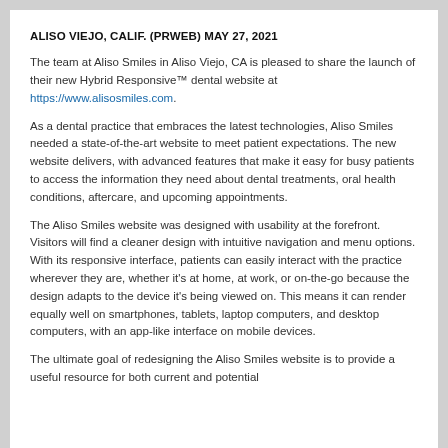ALISO VIEJO, CALIF. (PRWEB) MAY 27, 2021
The team at Aliso Smiles in Aliso Viejo, CA is pleased to share the launch of their new Hybrid Responsive™ dental website at https://www.alisosmiles.com.
As a dental practice that embraces the latest technologies, Aliso Smiles needed a state-of-the-art website to meet patient expectations. The new website delivers, with advanced features that make it easy for busy patients to access the information they need about dental treatments, oral health conditions, aftercare, and upcoming appointments.
The Aliso Smiles website was designed with usability at the forefront. Visitors will find a cleaner design with intuitive navigation and menu options. With its responsive interface, patients can easily interact with the practice wherever they are, whether it's at home, at work, or on-the-go because the design adapts to the device it's being viewed on. This means it can render equally well on smartphones, tablets, laptop computers, and desktop computers, with an app-like interface on mobile devices.
The ultimate goal of redesigning the Aliso Smiles website is to provide a useful resource for both current and potential